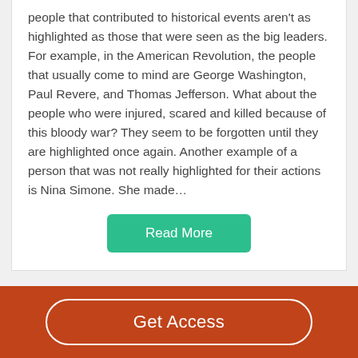people that contributed to historical events aren't as highlighted as those that were seen as the big leaders. For example, in the American Revolution, the people that usually come to mind are George Washington, Paul Revere, and Thomas Jefferson. What about the people who were injured, scared and killed because of this bloody war? They seem to be forgotten until they are highlighted once again. Another example of a person that was not really highlighted for their actions is Nina Simone. She made…
Read More
Better Essays
Get Access